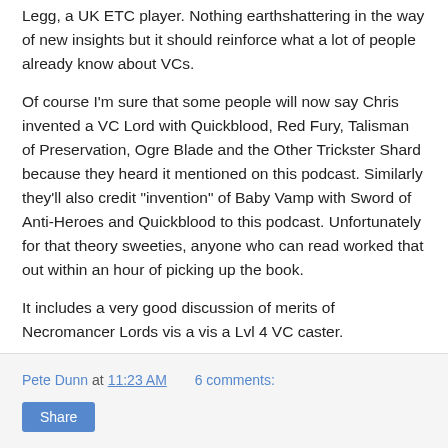Legg, a UK ETC player. Nothing earthshattering in the way of new insights but it should reinforce what a lot of people already know about VCs.
Of course I'm sure that some people will now say Chris invented a VC Lord with Quickblood, Red Fury, Talisman of Preservation, Ogre Blade and the Other Trickster Shard because they heard it mentioned on this podcast. Similarly they'll also credit "invention" of Baby Vamp with Sword of Anti-Heroes and Quickblood to this podcast. Unfortunately for that theory sweeties, anyone who can read worked that out within an hour of picking up the book.
It includes a very good discussion of merits of Necromancer Lords vis a vis a Lvl 4 VC caster.
Well worth a listen.
Pete Dunn at 11:23 AM    6 comments: